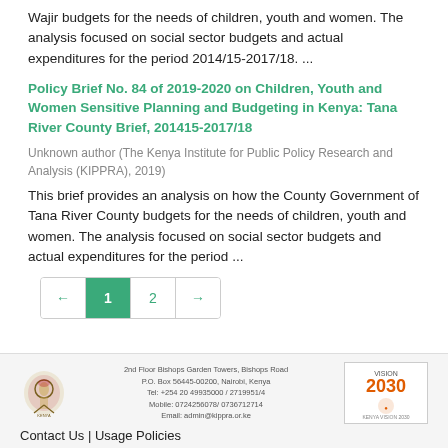Wajir budgets for the needs of children, youth and women. The analysis focused on social sector budgets and actual expenditures for the period 2014/15-2017/18. ...
Policy Brief No. 84 of 2019-2020 on Children, Youth and Women Sensitive Planning and Budgeting in Kenya: Tana River County Brief, 201415-2017/18
Unknown author (The Kenya Institute for Public Policy Research and Analysis (KIPPRA), 2019)
This brief provides an analysis on how the County Government of Tana River County budgets for the needs of children, youth and women. The analysis focused on social sector budgets and actual expenditures for the period ...
Contact Us | Usage Policies